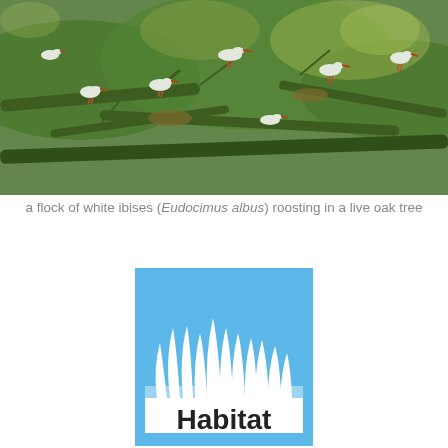[Figure (photo): A flock of white ibises roosting in a live oak tree with green moss-covered branches]
a flock of white ibises (Eudocimus albus) roosting in a live oak tree
[Figure (logo): Habitat icon: light blue square with white grass/vegetation silhouette illustration in the center]
Habitat